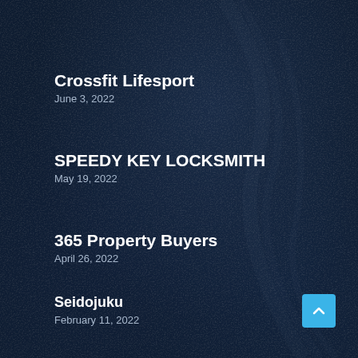Crossfit Lifesport
June 3, 2022
SPEEDY KEY LOCKSMITH
May 19, 2022
365 Property Buyers
April 26, 2022
Seidojuku
February 11, 2022
Condos of Kelowna
March 19, 2022